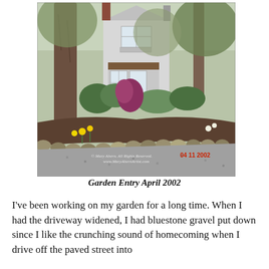[Figure (photo): A photograph of a house with a garden entry. Large trees flank the scene. A curved garden bed edged with rounded stones runs along a bluestone gravel driveway. Spring flowers including yellow daffodils and pink blooms are visible. A white two-story house with a bay window addition is visible in the background. A watermark reads '© Mary Ahern, All Rights Reserved. www.MaryAhernArtist.com' and a red date stamp '04 11 2002' is in the lower right.]
Garden Entry April 2002
I've been working on my garden for a long time. When I had the driveway widened, I had bluestone gravel put down since I like the crunching sound of homecoming when I drive off the paved street into